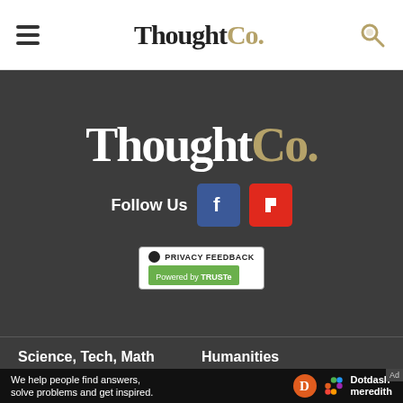ThoughtCo.
[Figure (logo): ThoughtCo. large logo in white and gold on dark background]
Follow Us
[Figure (infographic): Privacy Feedback badge powered by TRUSTe]
Science, Tech, Math
Humanities
Languages
Resources
About Us
Advertise
We help people find answers, solve problems and get inspired. Dotdash meredith